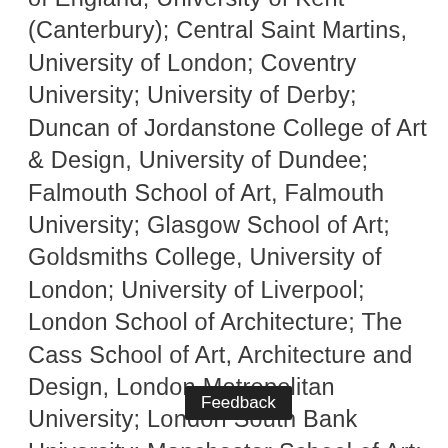of England; University of Kent (Canterbury); Central Saint Martins, University of London; Coventry University; University of Derby; Duncan of Jordanstone College of Art & Design, University of Dundee; Falmouth School of Art, Falmouth University; Glasgow School of Art; Goldsmiths College, University of London; University of Liverpool; London School of Architecture; The Cass School of Art, Architecture and Design, London Metropolitan University; London South Bank University; Manchester School of Art; Plymouth College of Art; University of Portsmouth; Royal College of Art; University of Salford; Sheffield Hallam University; The Bartlett, University College London; Belfast School of Art, Ulster University; University of